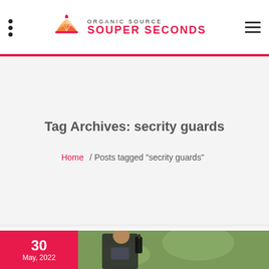Organic Source Souper Seconds
Tag Archives: secrity guards
Home / Posts tagged "secrity guards"
[Figure (photo): Security guard speaking into walkie-talkie radio, blurred green outdoor background, date badge showing 30 May 2022 in red]